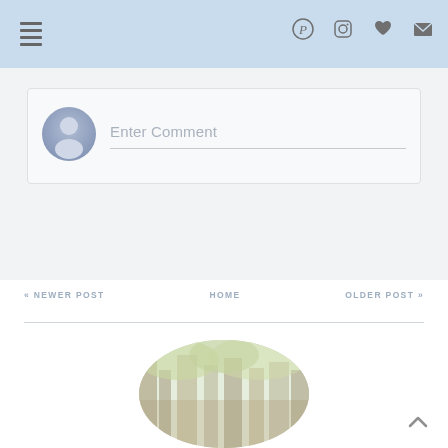Navigation bar with menu icon and social icons (Pinterest, Instagram, Heart, Mail)
[Figure (screenshot): Comment input box with user avatar placeholder and 'Enter Comment' placeholder text]
« NEWER POST   HOME   OLDER POST »
[Figure (photo): Circular cropped photo showing trees/nature scene, partially visible at bottom of page]